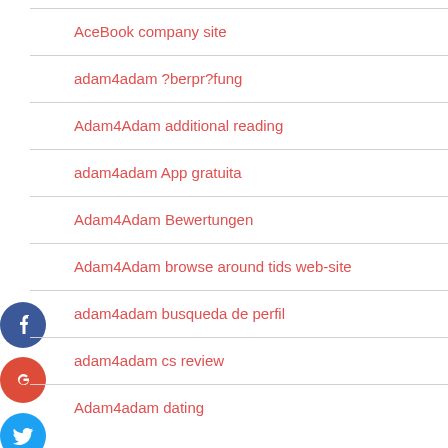AceBook company site
adam4adam ?berpr?fung
Adam4Adam additional reading
adam4adam App gratuita
Adam4Adam Bewertungen
Adam4Adam browse around tids web-site
adam4adam busqueda de perfil
adam4adam cs review
Adam4adam dating